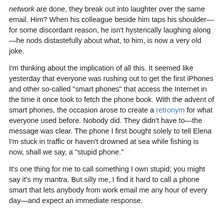network are done, they break out into laughter over the same email. Him? When his colleague beside him taps his shoulder—for some discordant reason, he isn't hysterically laughing along—he nods distastefully about what, to him, is now a very old joke.
I'm thinking about the implication of all this. It seemed like yesterday that everyone was rushing out to get the first iPhones and other so-called "smart phones" that access the Internet in the time it once took to fetch the phone book. With the advent of smart phones, the occasion arose to create a retronym for what everyone used before. Nobody did. They didn't have to—the message was clear. The phone I first bought solely to tell Elena I'm stuck in traffic or haven't drowned at sea while fishing is now, shall we say, a "stupid phone."
It's one thing for me to call something I own stupid; you might say it's my mantra. But silly me, I find it hard to call a phone smart that lets anybody from work email me any hour of every day—and expect an immediate response.